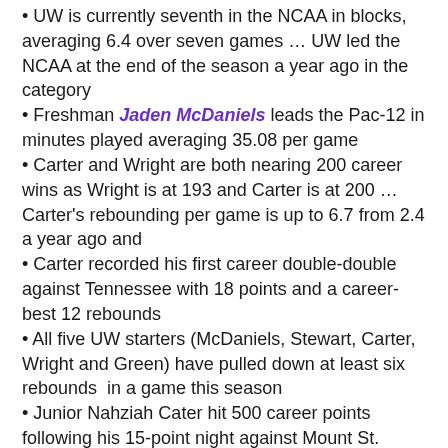UW is currently seventh in the NCAA in blocks, averaging 6.4 over seven games … UW led the NCAA at the end of the season a year ago in the category
Freshman Jaden McDaniels leads the Pac-12 in minutes played averaging 35.08 per game
Carter and Wright are both nearing 200 career wins as Wright is at 193 and Carter is at 200 … Carter's rebounding per game is up to 6.7 from 2.4 a year ago and
Carter recorded his first career double-double against Tennessee with 18 points and a career-best 12 rebounds
All five UW starters (McDaniels, Stewart, Carter, Wright and Green) have pulled down at least six rebounds  in a game this season
Junior Nahziah Cater hit 500 career points following his 15-point night against Mount St. Mary's … and now sits at 569 career points